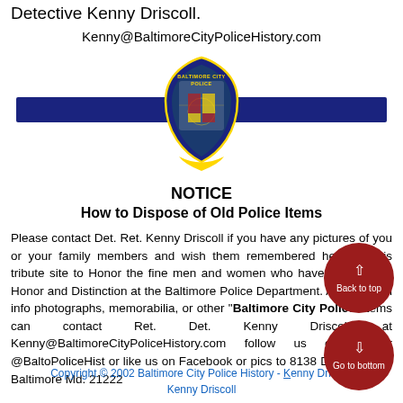Detective Kenny Driscoll.
Kenny@BaltimoreCityPoliceHistory.com
[Figure (logo): Baltimore City Police badge/shield logo centered on a navy blue horizontal bar]
NOTICE
How to Dispose of Old Police Items
Please contact Det. Ret. Kenny Driscoll if you have any pictures of you or your family members and wish them remembered here on this tribute site to Honor the fine men and women who have served with Honor and Distinction at the Baltimore Police Department. Anyone with info photographs, memorabilia, or other "Baltimore City Police" items can contact Ret. Det. Kenny Driscoll at Kenny@BaltimoreCityPoliceHistory.com follow us on Twitter @BaltoPoliceHist or like us on Facebook or pics to 8138 Dundalk Ave. Baltimore Md. 21222
Copyright © 2002 Baltimore City Police History - Kenny Driscoll